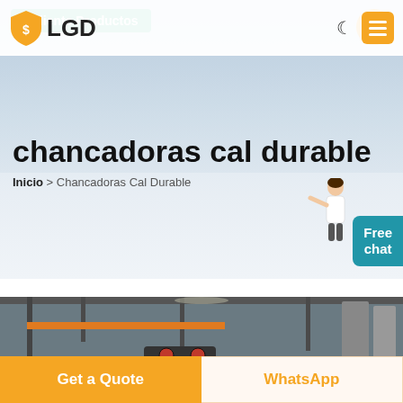[Figure (logo): LGD logo with orange shield icon and bold LGD text]
[Figure (screenshot): Navigation bar with moon icon and orange hamburger menu button]
chancadoras cal durable
Inicio > Chancadoras Cal Durable
[Figure (photo): Industrial factory/machinery background photo]
[Figure (illustration): Person figure illustration pointing]
Free chat
Caliente Productos
Get a Quote
WhatsApp